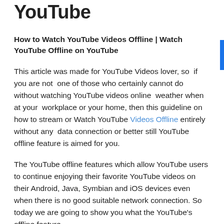YouTube
How to Watch YouTube Videos Offline | Watch YouTube Offline on YouTube
This article was made for YouTube Videos lover, so  if you are not  one of those who certainly cannot do without watching YouTube videos online  weather when at your  workplace or your home, then this guideline on how to stream or Watch YouTube Videos Offline entirely without any  data connection or better still YouTube offline feature is aimed for you.
The YouTube offline features which allow YouTube users to continue enjoying their favorite YouTube videos on their Android, Java, Symbian and iOS devices even when there is no good suitable network connection. So today we are going to show you what the YouTube's offline feature